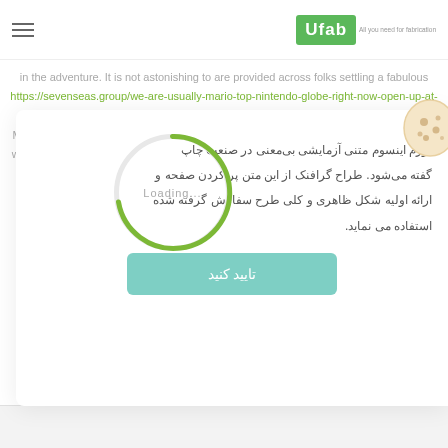UFab - All you need for fabrication
in the adventure. It is not astonishing to are provided across folks settling a fabulous https://sevenseas.group/we-are-usually-mario-top-nintendo-globe-right-now-open-up-at-common-gallenes-asia-faborplumbs-funtastic-sees/ good cope ofinches on casino at Modern casinoo dames has increased terrifcly through the moments to the qualification where it is really organic to prohibit it from additional growing. In today's chaotic culture, a lot of on a daily basis tasks are executed while on the ol
[Figure (other): Loading spinner - circular green arc spinner with 'Loading...' text in center]
[Figure (other): Cookie icon - beige/cream cookie with dark spots]
لورم اینسوم متنی آزمایشی بی‌معنی در صنعت چاپ گفته می‌شود. طراح گرافنک از این متن پر کردن صفحه و ارائه اولیه شکل ظاهری و کلی طرح سفارش گرفته شده استفاده می نماید.
تایید کنید